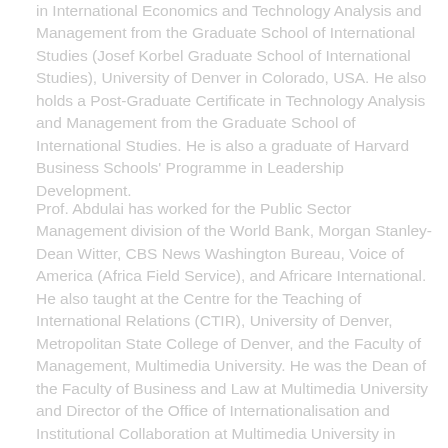in International Economics and Technology Analysis and Management from the Graduate School of International Studies (Josef Korbel Graduate School of International Studies), University of Denver in Colorado, USA. He also holds a Post-Graduate Certificate in Technology Analysis and Management from the Graduate School of International Studies. He is also a graduate of Harvard Business Schools' Programme in Leadership Development.
Prof. Abdulai has worked for the Public Sector Management division of the World Bank, Morgan Stanley-Dean Witter, CBS News Washington Bureau, Voice of America (Africa Field Service), and Africare International. He also taught at the Centre for the Teaching of International Relations (CTIR), University of Denver, Metropolitan State College of Denver, and the Faculty of Management, Multimedia University. He was the Dean of the Faculty of Business and Law at Multimedia University and Director of the Office of Internationalisation and Institutional Collaboration at Multimedia University in Kuala Lumpur, Malaysia. He is also an external examiner for DBA thesis for some Australian universities. He was made a full professor of International Economics and Business at the University of South Africa's Graduate School of Business Leadership.